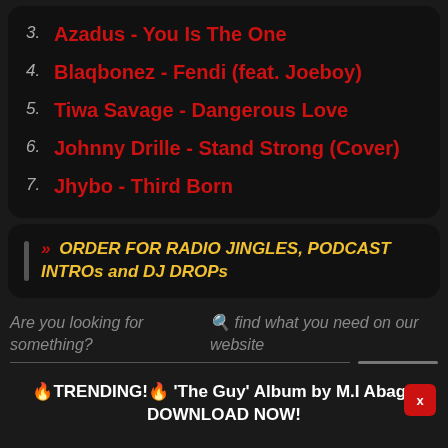3. Azadus - You Is The One
4. Blaqbonez - Fendi (feat. Joeboy)
5. Tiwa Savage - Dangerous Love
6. Johnny Drille - Stand Strong (Cover)
7. Jhybo - Third Born
» ORDER FOR RADIO JINGLES, PODCAST INTROs and DJ DROPs
Are you looking for something?
🔍 find what you need on our website
🔥TRENDING!🔥 'The Guy' Album by M.I Abaga DOWNLOAD NOW!